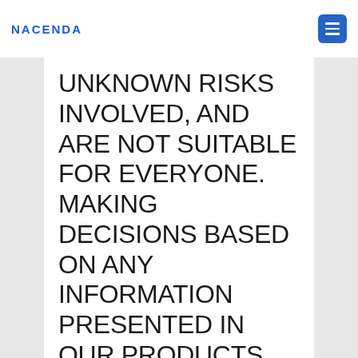Nacenda
UNKNOWN RISKS INVOLVED, AND ARE NOT SUITABLE FOR EVERYONE. MAKING DECISIONS BASED ON ANY INFORMATION PRESENTED IN OUR PRODUCTS, SERVICES, OR WEB SITE, SHOULD BE DONE ONLY WITH THE KNOWLEDGE THAT YOU